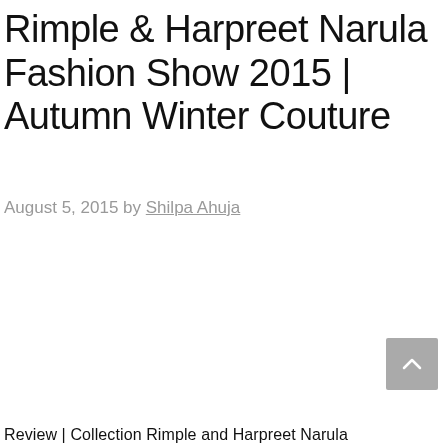Rimple & Harpreet Narula Fashion Show 2015 | Autumn Winter Couture
August 5, 2015 by Shilpa Ahuja
Review | Collection Rimple and Harpreet Narula